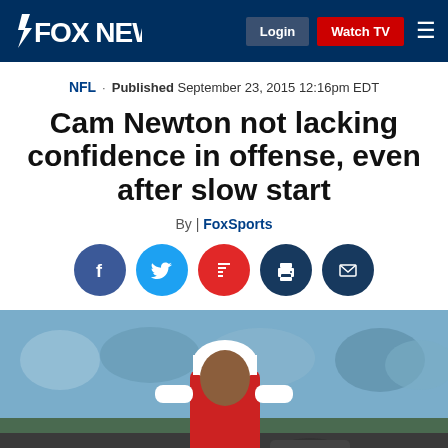FOX NEWS | Login | Watch TV
NFL · Published September 23, 2015 12:16pm EDT
Cam Newton not lacking confidence in offense, even after slow start
By | FoxSports
[Figure (other): Social sharing icons row: Facebook (blue circle), Twitter (light blue circle), Flipboard (red circle), Print (dark blue circle), Email (dark blue circle)]
[Figure (photo): Cam Newton wearing a white cap and red jersey, looking down during what appears to be a practice session or pregame warmup, with a blurred crowd in the background]